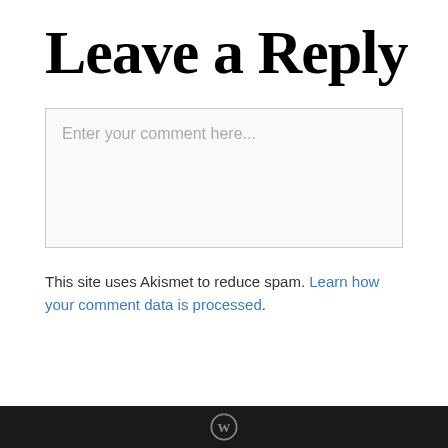Leave a Reply
[Figure (other): Comment text input box with placeholder text 'Enter your comment here...']
This site uses Akismet to reduce spam. Learn how your comment data is processed.
WordPress logo icon